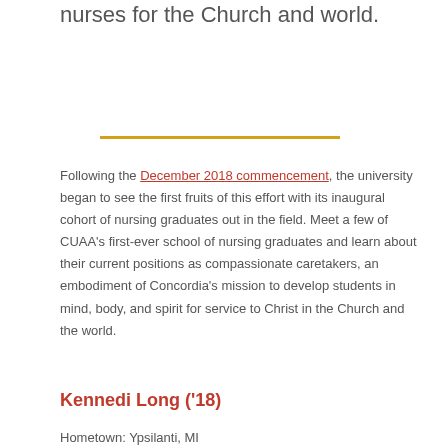university vision to prepare more Christ-inspired nurses for the Church and world.
Following the December 2018 commencement, the university began to see the first fruits of this effort with its inaugural cohort of nursing graduates out in the field. Meet a few of CUAA's first-ever school of nursing graduates and learn about their current positions as compassionate caretakers, an embodiment of Concordia's mission to develop students in mind, body, and spirit for service to Christ in the Church and the world.
Kennedi Long ('18)
Hometown: Ypsilanti, MI